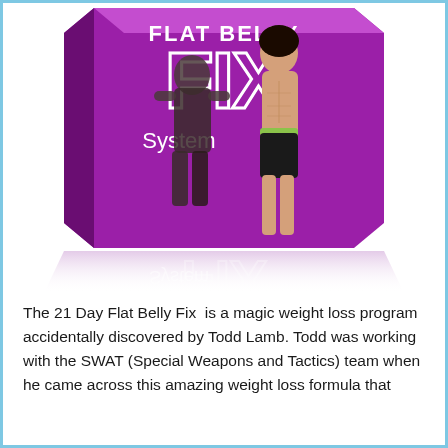[Figure (illustration): Book cover mockup for 'Flat Belly Fix System' showing a 3D book with purple cover, large text 'FIX' and 'System', with two fit people (man and woman) posing on the cover, and a reflection below showing the cover art mirrored.]
The 21 Day Flat Belly Fix  is a magic weight loss program accidentally discovered by Todd Lamb. Todd was working with the SWAT (Special Weapons and Tactics) team when he came across this amazing weight loss formula that...